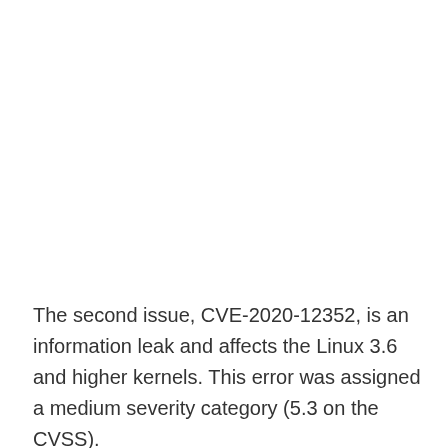The second issue, CVE-2020-12352, is an information leak and affects the Linux 3.6 and higher kernels. This error was assigned a medium severity category (5.3 on the CVSS).